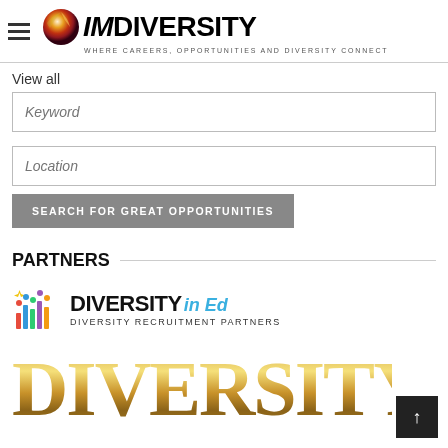[Figure (logo): IMDiversity logo with colorful orb icon, tagline: WHERE CAREERS, OPPORTUNITIES AND DIVERSITY CONNECT]
View all
Keyword
Location
SEARCH FOR GREAT OPPORTUNITIES
PARTNERS
[Figure (logo): Diversity in Ed - Diversity Recruitment Partners logo with colorful people icon]
[Figure (logo): DIVERSITY text in gold serif font (partial, continues below fold)]